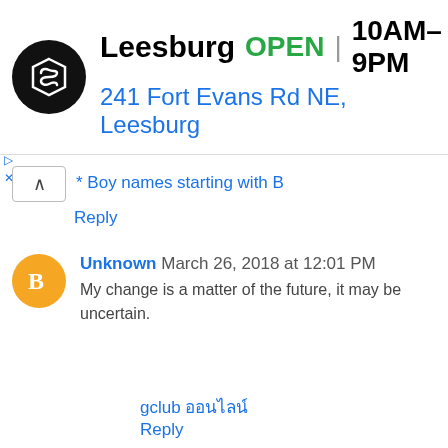[Figure (infographic): Advertisement banner for a store in Leesburg showing logo, OPEN status, hours 10AM-9PM, address 241 Fort Evans Rd NE Leesburg, and navigation icon]
* Boy names starting with B
Reply
Unknown March 26, 2018 at 12:01 PM
My change is a matter of the future, it may be uncertain.
gclub ออนไลน์
Reply